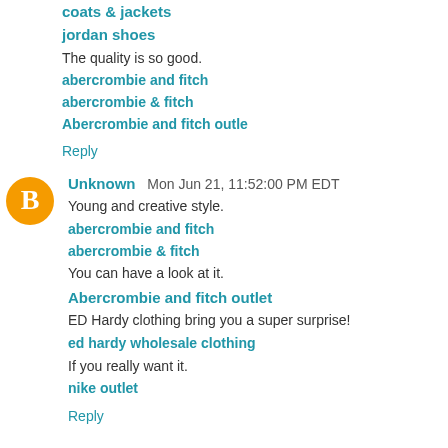coats & jackets
jordan shoes
The quality is so good.
abercrombie and fitch
abercrombie & fitch
Abercrombie and fitch outle
Reply
Unknown  Mon Jun 21, 11:52:00 PM EDT
Young and creative style.
abercrombie and fitch
abercrombie & fitch
You can have a look at it.
Abercrombie and fitch outlet
ED Hardy clothing bring you a super surprise!
ed hardy wholesale clothing
If you really want it.
nike outlet
Reply